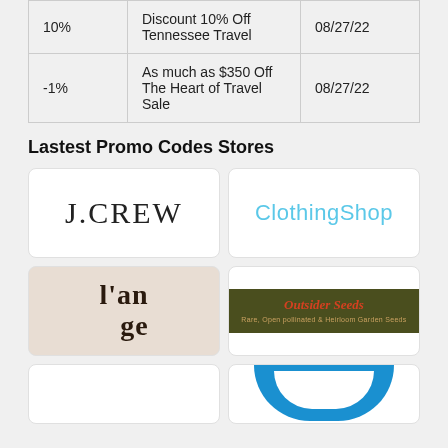|  | Description | Date |
| --- | --- | --- |
| 10% | Discount 10% Off Tennessee Travel | 08/27/22 |
| -1% | As much as $350 Off The Heart of Travel Sale | 08/27/22 |
Lastest Promo Codes Stores
[Figure (logo): J.CREW logo]
[Figure (logo): ClothingShop logo]
[Figure (logo): l'ange logo]
[Figure (logo): Outsider Seeds - Rare, Open pollinated & Heirloom Garden Seeds logo]
[Figure (logo): Partial logo card (empty)]
[Figure (logo): Blue arc logo (partial)]